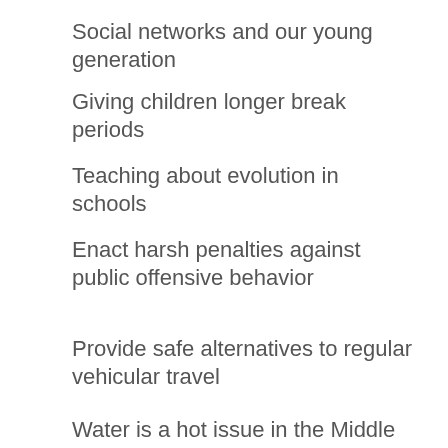Social networks and our young generation
Giving children longer break periods
Teaching about evolution in schools
Enact harsh penalties against public offensive behavior
Provide safe alternatives to regular vehicular travel
Water is a hot issue in the Middle East